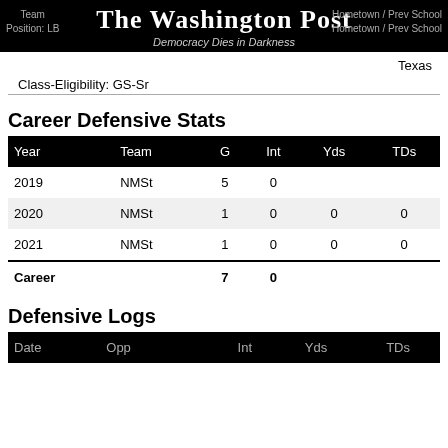The Washington Post
Democracy Dies in Darkness
Texas
Class-Eligibility: GS-Sr
Career Defensive Stats
| Year | Team | G | Int | Yds | TDs |
| --- | --- | --- | --- | --- | --- |
| 2019 | NMSt | 5 | 0 |  |  |
| 2020 | NMSt | 1 | 0 | 0 | 0 |
| 2021 | NMSt | 1 | 0 | 0 | 0 |
| Career |  | 7 | 0 |  |  |
Defensive Logs
| Date | Opp |  | Int | Yds | TDs |
| --- | --- | --- | --- | --- | --- |